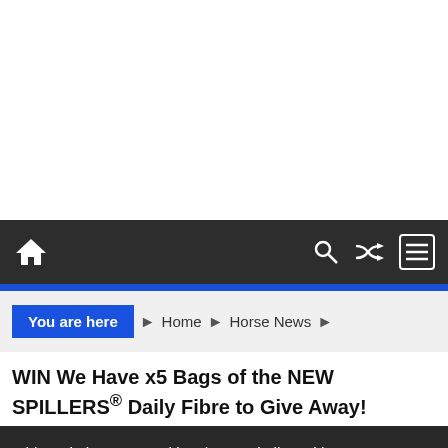[Figure (screenshot): White blank area at top of webpage]
Navigation bar with home icon, search icon, shuffle icon, and menu icon
You are here  Home  Horse News
WIN We Have x5 Bags of the NEW SPILLERS® Daily Fibre to Give Away!
This website uses cookies that are in line with current GDPR requirements
OKAY   MORE INFO